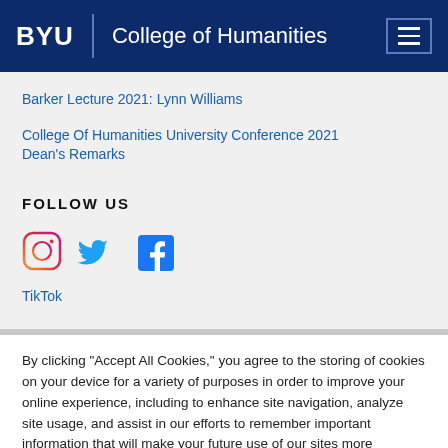BYU | College of Humanities
Barker Lecture 2021: Lynn Williams
College Of Humanities University Conference 2021 Dean's Remarks
FOLLOW US
[Figure (other): Social media icons: Instagram, Twitter, Facebook]
TikTok
By clicking “Accept All Cookies,” you agree to the storing of cookies on your device for a variety of purposes in order to improve your online experience, including to enhance site navigation, analyze site usage, and assist in our efforts to remember important information that will make your future use of our sites more convenient.